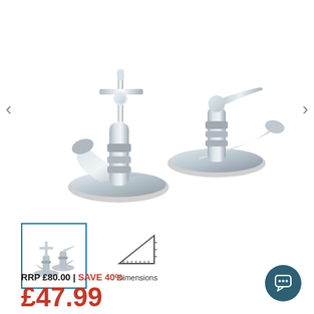[Figure (photo): Two chrome traditional basin taps with cross-head handles on left and lever handle on right, shown on white background. Navigation arrows on left and right sides.]
[Figure (photo): Small thumbnail image of the same chrome basin taps, selected with teal border]
[Figure (illustration): Dimensions icon showing a right-angle triangle with ruler/measurement lines]
Dimensions
RRP £80.00 | SAVE 40%
£47.99